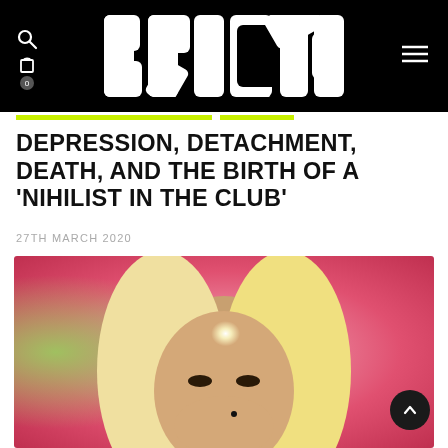BRICKS
DEPRESSION, DETACHMENT, DEATH, AND THE BIRTH OF A 'NIHILIST IN THE CLUB'
27TH MARCH 2020
[Figure (photo): Close-up portrait of a person with long blonde hair against a colorful blurred background with pink and green tones, with a bright light flare on the forehead]